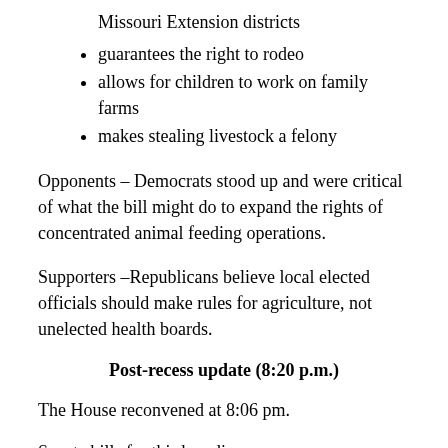Missouri Extension districts
guarantees the right to rodeo
allows for children to work on family farms
makes stealing livestock a felony
Opponents – Democrats stood up and were critical of what the bill might do to expand the rights of concentrated animal feeding operations.
Supporters –Republicans believe local elected officials should make rules for agriculture, not unelected health boards.
Post-recess update (8:20 p.m.)
The House reconvened at 8:06 pm.
Senate bills for third reading: